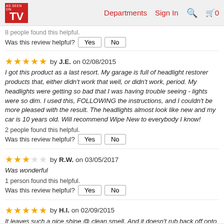AS SEEN ON TV | Departments | Sign In | Search | Cart 0
8 people found this helpful.
Was this review helpful? Yes No
★★★★★ by J.E. on 02/08/2015
I got this product as a last resort. My garage is full of headlight restorer products that, either didn't work that well, or didn't work, period. My headlights were getting so bad that I was having trouble seeing - lights were so dim. I used this, FOLLOWING the instructions, and I couldn't be more pleased with the result. The headlights almost look like new and my car is 10 years old. Will recommend Wipe New to everybody I know!
2 people found this helpful.
Was this review helpful? Yes No
★★★☆☆ by R.W. on 03/05/2017
Was wonderful
1 person found this helpful.
Was this review helpful? Yes No
★★★★★ by H.I. on 02/09/2015
It leaves such a nice shine @ clean smell. And it doesn't rub back off onto your clothes or skin. My husband even used it on his shoes to get the shine.
1 person found this helpful.
Was this review helpful? Yes No